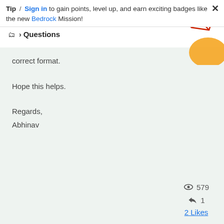Tip / Sign in to gain points, level up, and earn exciting badges like the new Bedrock Mission!
Questions
correct format.
Hope this helps.
Regards,
Abhinav
579
1
2 Likes